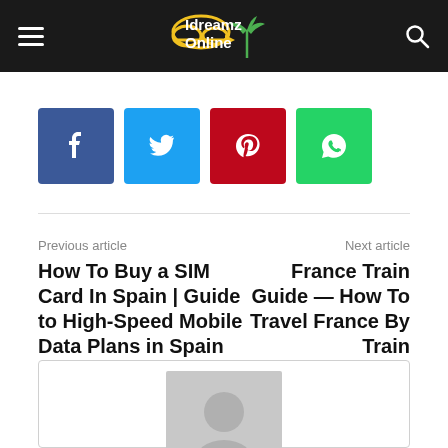Idreamz Online
[Figure (infographic): Social share buttons: Facebook (blue), Twitter (cyan), Pinterest (red), WhatsApp (green)]
Previous article
Next article
How To Buy a SIM Card In Spain | Guide to High-Speed Mobile Data Plans in Spain
France Train Guide — How To Travel France By Train
[Figure (photo): Author avatar placeholder — grey silhouette of a person on grey background]